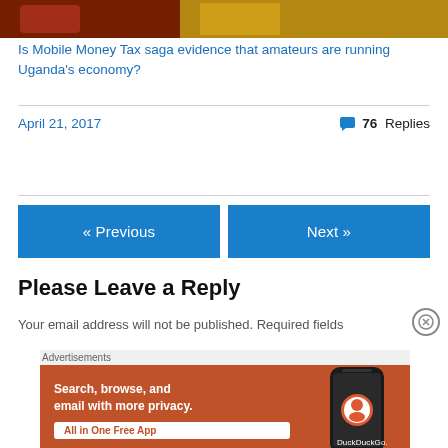[Figure (photo): Partial top image showing colorful background with red and yellow colors, partially cropped]
Is Mobile Money Tax saga evidence that amateurs are running Uganda's economy?
April 21, 2017
76 Replies
« Previous
Next »
Please Leave a Reply
Your email address will not be published. Required fields
Advertisements
[Figure (screenshot): DuckDuckGo advertisement banner with orange background. Text: Search, browse, and email with more privacy. All in One Free App. Shows a phone graphic with DuckDuckGo logo.]